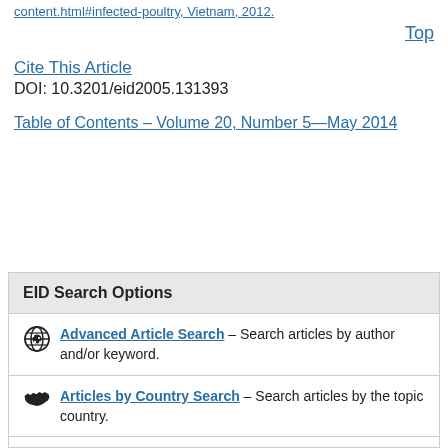[partial link at top]
Top
Cite This Article
DOI: 10.3201/eid2005.131393
Table of Contents – Volume 20, Number 5—May 2014
EID Search Options
Advanced Article Search – Search articles by author and/or keyword.
Articles by Country Search – Search articles by the topic country.